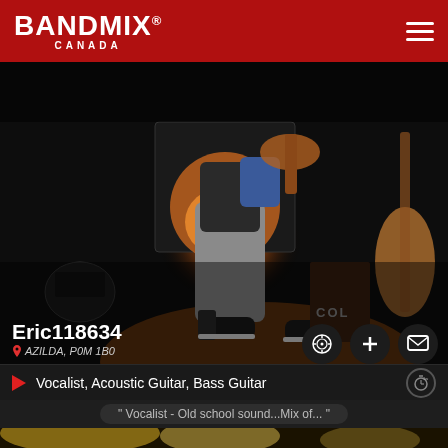BANDMIX® CANADA
[Figure (photo): Person sitting in a dark room near a fireplace, wearing gray pants and black sneakers (Converse), with guitars visible in the background. Warm orange fire glow illuminates the scene.]
Eric118634
AZILDA, P0M 1B0
Vocalist, Acoustic Guitar, Bass Guitar
" Vocalist - Old school sound...Mix of... "
[Figure (photo): Partial view of golden/brass musical instruments (likely cymbals or horns) against a dark background with warm golden glow.]